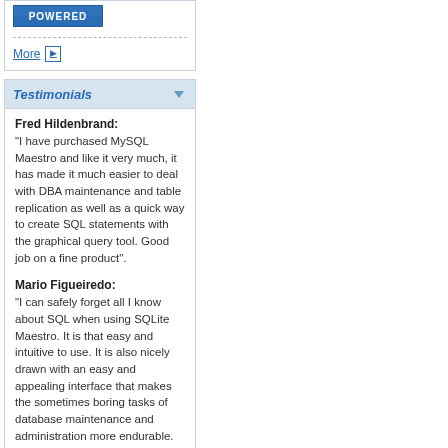[Figure (logo): Blue 'POWERED' button/badge image]
More ▶
Testimonials
Fred Hildenbrand:
"I have purchased MySQL Maestro and like it very much, it has made it much easier to deal with DBA maintenance and table replication as well as a quick way to create SQL statements with the graphical query tool. Good job on a fine product".
Mario Figueiredo:
"I can safely forget all I know about SQL when using SQLite Maestro. It is that easy and intuitive to use. It is also nicely drawn with an easy and appealing interface that makes the sometimes boring tasks of database maintenance and administration more endurable.